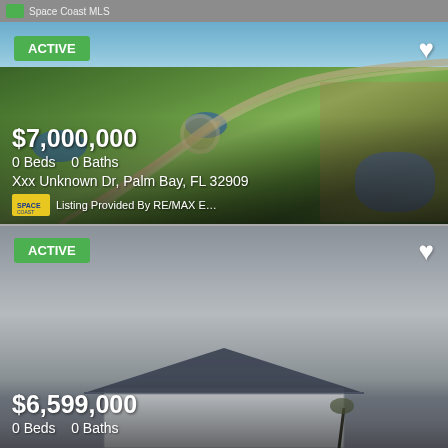Space Coast MLS
[Figure (photo): Aerial view of Palm Bay, FL showing green landscape, roads, water features, and residential areas]
ACTIVE
$7,000,000
0 Beds   0 Baths
Xxx Unknown Dr, Palm Bay, FL 32909
Listing Provided By RE/MAX E…
[Figure (photo): Building exterior photo under overcast sky]
ACTIVE
$6,599,000
0 Beds   0 Baths